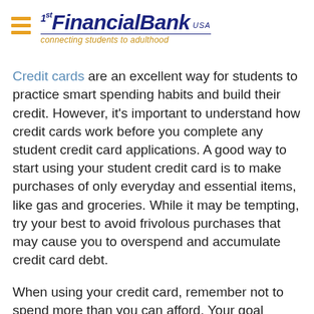1st Financial Bank USA — connecting students to adulthood
Credit cards are an excellent way for students to practice smart spending habits and build their credit. However, it's important to understand how credit cards work before you complete any student credit card applications. A good way to start using your student credit card is to make purchases of only everyday and essential items, like gas and groceries. While it may be tempting, try your best to avoid frivolous purchases that may cause you to overspend and accumulate credit card debt.
When using your credit card, remember not to spend more than you can afford. Your goal should always be to have enough money in your bank account to cover your full balance and pay on time.